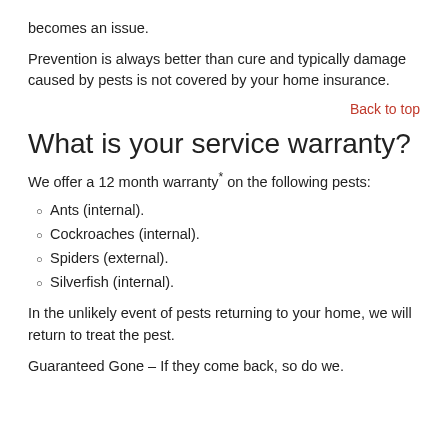becomes an issue.
Prevention is always better than cure and typically damage caused by pests is not covered by your home insurance.
Back to top
What is your service warranty?
We offer a 12 month warranty* on the following pests:
Ants (internal).
Cockroaches (internal).
Spiders (external).
Silverfish (internal).
In the unlikely event of pests returning to your home, we will return to treat the pest.
Guaranteed Gone – If they come back, so do we.